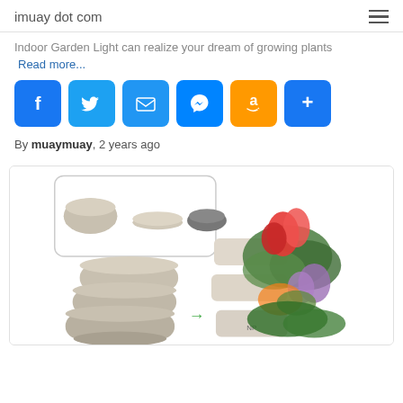imuay dot com
Indoor Garden Light can realize your dream of growing plants
Read more...
[Figure (infographic): Social sharing buttons: Facebook, Twitter, Email, Messenger, Amazon, More (+)]
By muaymuay, 2 years ago
[Figure (photo): Product photo showing stackable planter pots with component breakdown (pot bowl, tray, connector pieces) and a finished stack of planters with colorful flowers on the right side]